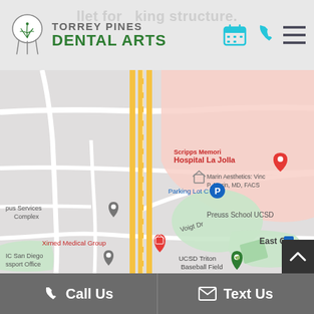Torrey Pines Dental Arts
[Figure (map): Google Maps screenshot showing area near UCSD/La Jolla including: Scripps Memorial Hospital La Jolla, Marin Aesthetics: Vinc P. Marin MD FACS, Parking Lot C, pus Services Complex, Ximed Medical Group, Preuss School UCSD, UC San Diego ssport Office, Voigt Dr, UCSD Triton Baseball Field, East Campus Recreation Area, East Ca, Regents R, Lot P401. Yellow road running vertically through center, green areas for fields/parks, pink area for campus.]
Call Us   Text Us